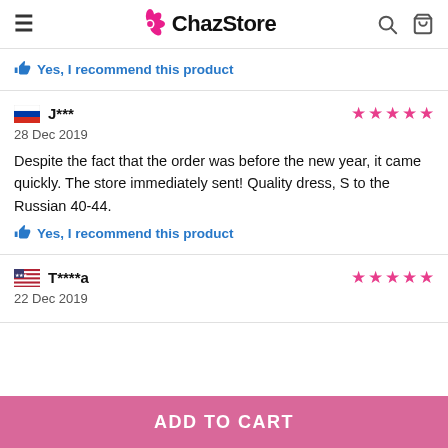ChazStore
Yes, I recommend this product
J*** | 28 Dec 2019 | 5 stars
Despite the fact that the order was before the new year, it came quickly. The store immediately sent! Quality dress, S to the Russian 40-44.
Yes, I recommend this product
T****a | 22 Dec 2019 | 5 stars
ADD TO CART